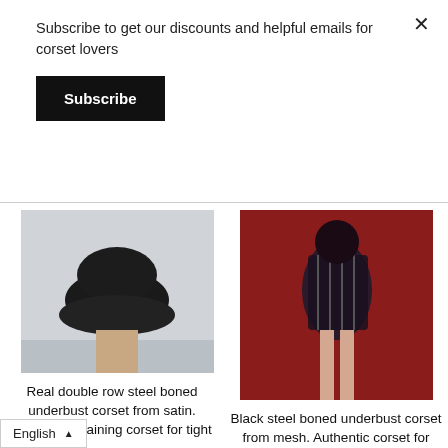Subscribe to get our discounts and helpful emails for corset lovers
Subscribe
[Figure (photo): Black underbust corset on mannequin, gray background]
[Figure (photo): Black mesh steel boned corset worn against red background]
Real double row steel boned underbust corset from satin. Real waist training corset for tight
Black steel boned underbust corset from mesh. Authentic corset for tight lacing
★★★★★ 2
English ▲